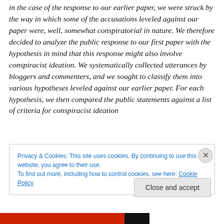in the case of the response to our earlier paper, we were struck by the way in which some of the accusations leveled against our paper were, well, somewhat conspiratorial in nature. We therefore decided to analyze the public response to our first paper with the hypothesis in mind that this response might also involve conspiracist ideation. We systematically collected utterances by bloggers and commenters, and we sought to classify them into various hypotheses leveled against our earlier paper. For each hypothesis, we then compared the public statements against a list of criteria for conspiracist ideation
[Figure (other): Cookie consent banner overlay with text: 'Privacy & Cookies: This site uses cookies. By continuing to use this website, you agree to their use. To find out more, including how to control cookies, see here: Cookie Policy' and a 'Close and accept' button. An X close button appears in the upper right corner of the banner.]